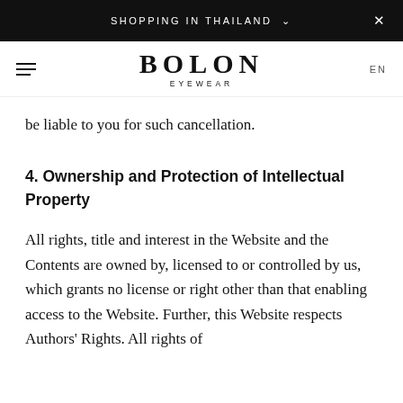SHOPPING IN THAILAND
BOLON EYEWEAR  EN
be liable to you for such cancellation.
4. Ownership and Protection of Intellectual Property
All rights, title and interest in the Website and the Contents are owned by, licensed to or controlled by us, which grants no license or right other than that enabling access to the Website. Further, this Website respects Authors' Rights. All rights of